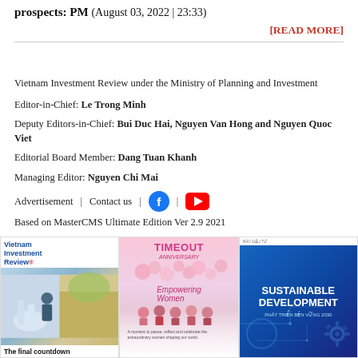prospects: PM (August 03, 2022 | 23:33)
[READ MORE]
Vietnam Investment Review under the Ministry of Planning and Investment
Editor-in-Chief: Le Trong Minh
Deputy Editors-in-Chief: Bui Duc Hai, Nguyen Van Hong and Nguyen Quoc Viet
Editorial Board Member: Dang Tuan Khanh
Managing Editor: Nguyen Chi Mai
Advertisement | Contact us | [Facebook icon] | [YouTube icon]
Based on MasterCMS Ultimate Edition Ver 2.9 2021
[Figure (photo): Vietnam Investment Review magazine cover showing 'The final countdown' article]
[Figure (photo): TIMEOUT magazine cover featuring women]
[Figure (photo): Sustainable Development magazine cover with blue design]